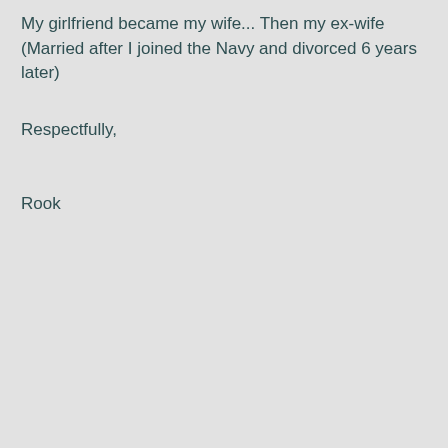My girlfriend became my wife... Then my ex-wife (Married after I joined the Navy and divorced 6 years later)
Respectfully,
Rook